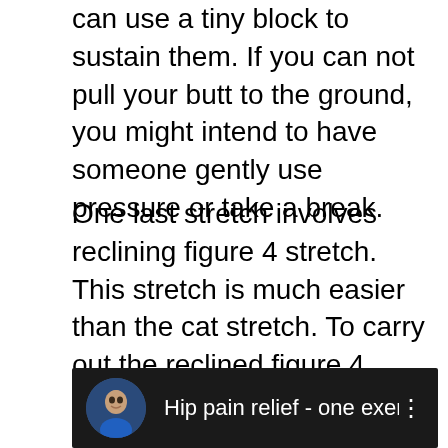can use a tiny block to sustain them. If you can not pull your butt to the ground, you might intend to have someone gently use pressure or take a break.
One last stretch involves reclining figure 4 stretch. This stretch is much easier than the cat stretch. To carry out the reclined figure 4 stretch, first draw your knees directly to the floor with the spheres of your feet. Next, flex your knees so your feet are hing on the flooring. Currently, cross your legs over one another and also location one foot in the front of the other with the heel touching the floor.
[Figure (screenshot): YouTube video thumbnail showing a man's face in a dark banner with the text 'Hip pain relief - one exercise no ...' and a three-dot menu icon]